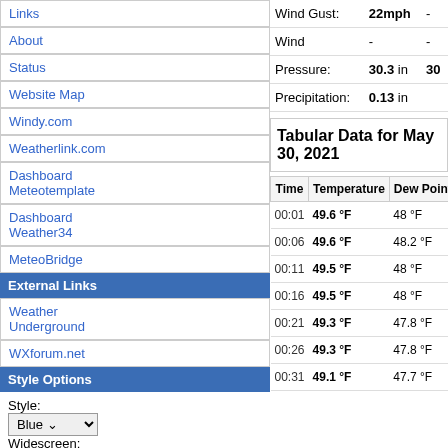Links
About
Status
Website Map
Windy.com
Weatherlink.com
Dashboard Meteotemplate
Dashboard Weather34
MeteoBridge
External Links
Weather Underground
WXforum.net
Style Options
Style: Blue Widescreen: On | Off Set
|  |  |  |
| --- | --- | --- |
| Wind Gust: | 22mph | - |
| Wind | - | - |
| Pressure: | 30.3 in | 30 |
| Precipitation: | 0.13 in |  |
Tabular Data for May 30, 2021
| Time | Temperature | Dew Point | Pressure | Wind | Wind S |
| --- | --- | --- | --- | --- | --- |
| 00:01 | 49.6 °F | 48 °F | 30.1 in | Calm |  |
| 00:06 | 49.6 °F | 48.2 °F | 30.1 in | Calm |  |
| 00:11 | 49.5 °F | 48 °F | 30.1 in | Calm |  |
| 00:16 | 49.5 °F | 48 °F | 30.1 in | Calm |  |
| 00:21 | 49.3 °F | 47.8 °F | 30.1 in | Calm |  |
| 00:26 | 49.3 °F | 47.8 °F | 30.1 in | Calm |  |
| 00:31 | 49.1 °F | 47.7 °F | 30.1 in | Calm |  |